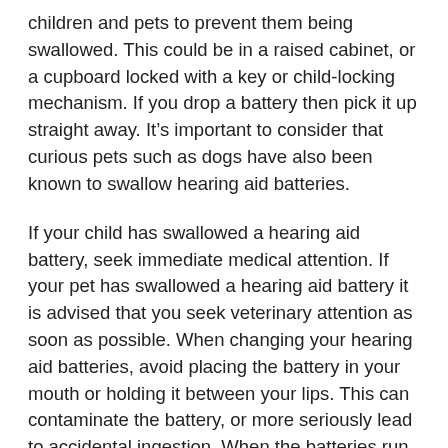children and pets to prevent them being swallowed. This could be in a raised cabinet, or a cupboard locked with a key or child-locking mechanism. If you drop a battery then pick it up straight away. It’s important to consider that curious pets such as dogs have also been known to swallow hearing aid batteries.
If your child has swallowed a hearing aid battery, seek immediate medical attention. If your pet has swallowed a hearing aid battery it is advised that you seek veterinary attention as soon as possible. When changing your hearing aid batteries, avoid placing the battery in your mouth or holding it between your lips. This can contaminate the battery, or more seriously lead to accidental ingestion. When the batteries run out, keep them somewhere secure and safe until such a time that you can take them to a place for safe disposal via recycling.